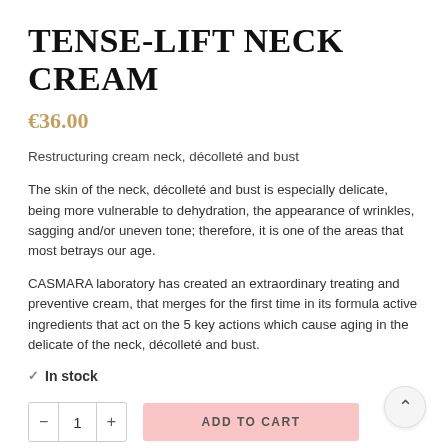TENSE-LIFT NECK CREAM
€36.00
Restructuring cream neck, décolleté and bust
The skin of the neck, décolleté and bust is especially delicate, being more vulnerable to dehydration, the appearance of wrinkles, sagging and/or uneven tone; therefore, it is one of the areas that most betrays our age.
CASMARA laboratory has created an extraordinary treating and preventive cream, that merges for the first time in its formula active ingredients that act on the 5 key actions which cause aging in the delicate of the neck, décolleté and bust.
✓ In stock